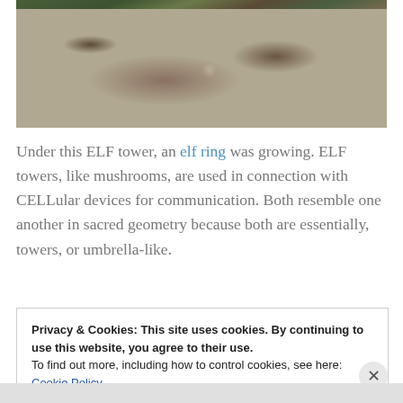[Figure (photo): Photograph of grass/ground under an ELF tower showing a fairy ring pattern with brownish dead grass in a roughly circular area surrounded by greener grass.]
Under this ELF tower, an elf ring was growing. ELF towers, like mushrooms, are used in connection with CELLular devices for communication. Both resemble one another in sacred geometry because both are essentially, towers, or umbrella-like.
Privacy & Cookies: This site uses cookies. By continuing to use this website, you agree to their use.
To find out more, including how to control cookies, see here: Cookie Policy
Close and accept